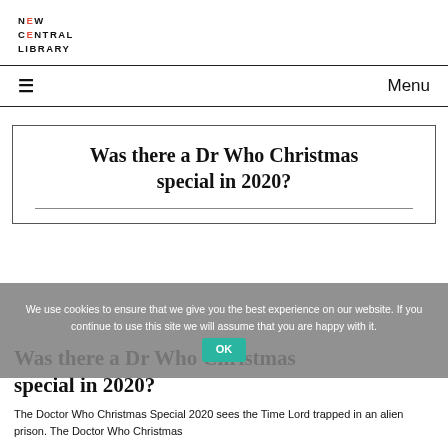NEW CENTRAL LIBRARY
Menu
Was there a Dr Who Christmas special in 2020?
Was there a Dr Who Christmas special in 2020?
The Doctor Who Christmas Special 2020 sees the Time Lord trapped in an alien prison. The Doctor Who Christmas
We use cookies to ensure that we give you the best experience on our website. If you continue to use this site we will assume that you are happy with it.